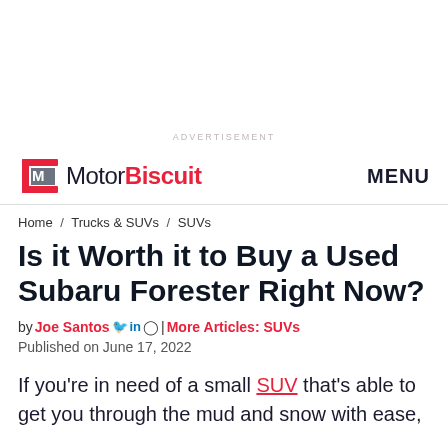ADVERTISEMENT
[Figure (logo): MotorBiscuit logo with red bracket icon and MENU text]
Home / Trucks & SUVs / SUVs
Is it Worth it to Buy a Used Subaru Forester Right Now?
by Joe Santos | More Articles: SUVs
Published on June 17, 2022
If you're in need of a small SUV that's able to get you through the mud and snow with ease,